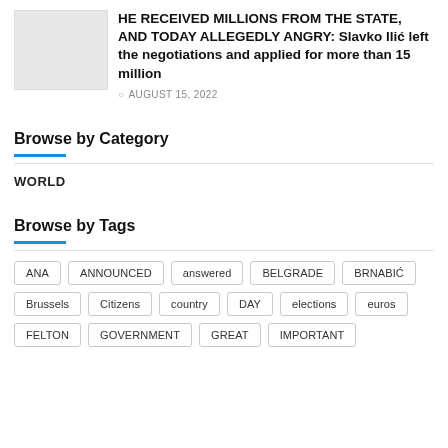HE RECEIVED MILLIONS FROM THE STATE, AND TODAY ALLEGEDLY ANGRY: Slavko Ilić left the negotiations and applied for more than 15 million
AUGUST 15, 2022
Browse by Category
WORLD
Browse by Tags
ANA
ANNOUNCED
answered
BELGRADE
BRNABIĆ
Brussels
Citizens
country
DAY
elections
euros
FELTON
GOVERNMENT
GREAT
IMPORTANT